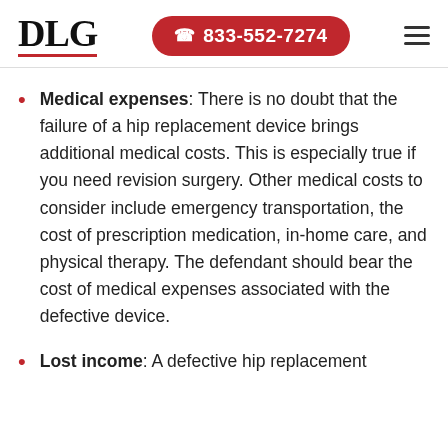DLG  833-552-7274
Medical expenses: There is no doubt that the failure of a hip replacement device brings additional medical costs. This is especially true if you need revision surgery. Other medical costs to consider include emergency transportation, the cost of prescription medication, in-home care, and physical therapy. The defendant should bear the cost of medical expenses associated with the defective device.
Lost income: A defective hip replacement